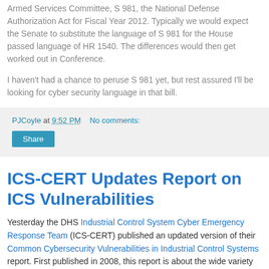Armed Services Committee, S 981, the National Defense Authorization Act for Fiscal Year 2012. Typically we would expect the Senate to substitute the language of S 981 for the House passed language of HR 1540. The differences would then get worked out in Conference.
I haven't had a chance to peruse S 981 yet, but rest assured I'll be looking for cyber security language in that bill.
PJCoyle at 9:52 PM    No comments:
Share
ICS-CERT Updates Report on ICS Vulnerabilities
Yesterday the DHS Industrial Control System Cyber Emergency Response Team (ICS-CERT) published an updated version of their Common Cybersecurity Vulnerabilities in Industrial Control Systems report. First published in 2008, this report is about the wide variety of